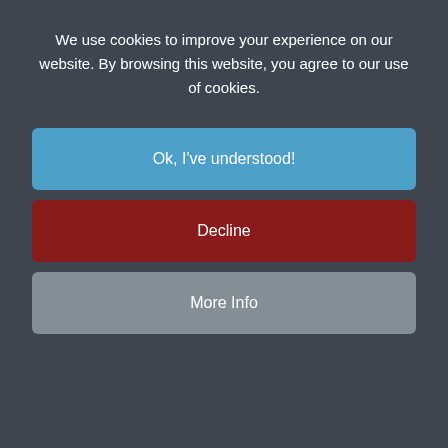We use cookies to improve your experience on our website. By browsing this website, you agree to our use of cookies.
Ok, I've understood!
Decline
More Info
exceptional way in which they spent their last year at school. Allen was most exceptional, he sensibly spent the greater part of it at home reading, occasionally writing, and learning exotic languages with uncommon zeal. His fine intelligence was admirably backed by a deplorable tenacity in all argument which could be liberally interpreted as calculated obtuseness, bad artistic taste, and lack of perception. All this made him a first-class instructor and an unfailing friend. He had a